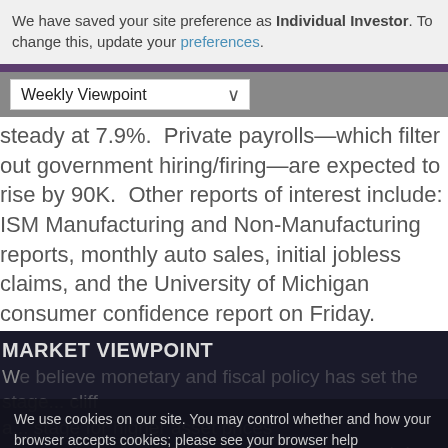We have saved your site preference as Individual Investor. To change this, update your preferences.
Weekly Viewpoint
steady at 7.9%.  Private payrolls—which filter out government hiring/firing—are expected to rise by 90K.  Other reports of interest include: ISM Manufacturing and Non-Manufacturing reports, monthly auto sales, initial jobless claims, and the University of Michigan consumer confidence report on Friday.
MARKET VIEWPOINT
We use cookies on our site. You may control whether and how your browser accepts cookies; please see your browser help documentation for more information. To learn more about the information we collect and how we use it, view our Privacy Policy.